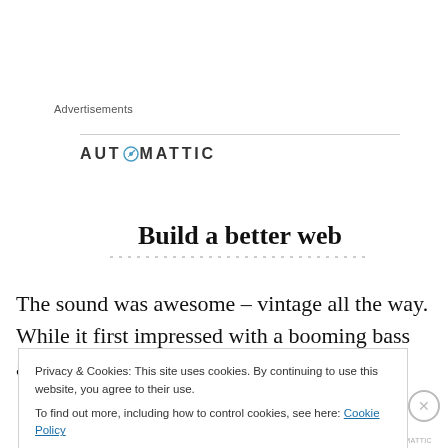Advertisements
[Figure (logo): AUTOMATTIC logo with a compass/clock icon replacing the 'O']
[Figure (infographic): Advertisement banner with headline 'Build a better web' and dotted underline]
The sound was awesome – vintage all the way. While it first impressed with a booming bass and strong mids,
Privacy & Cookies: This site uses cookies. By continuing to use this website, you agree to their use.
To find out more, including how to control cookies, see here: Cookie Policy
Close and accept